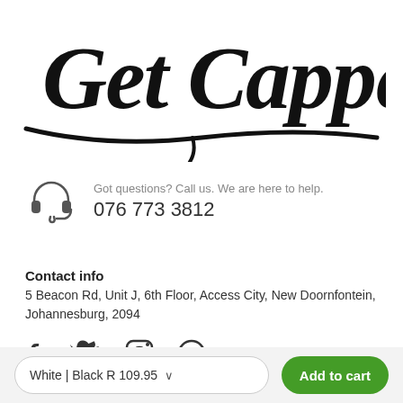[Figure (logo): Get Capped cursive script logo with swoosh underline]
Got questions? Call us. We are here to help.
076 773 3812
Contact info
5 Beacon Rd, Unit J, 6th Floor, Access City, New Doornfontein, Johannesburg, 2094
[Figure (illustration): Social media icons: Facebook, Twitter, Instagram, Pinterest]
GetCapped
White | Black R 109.95
Add to cart